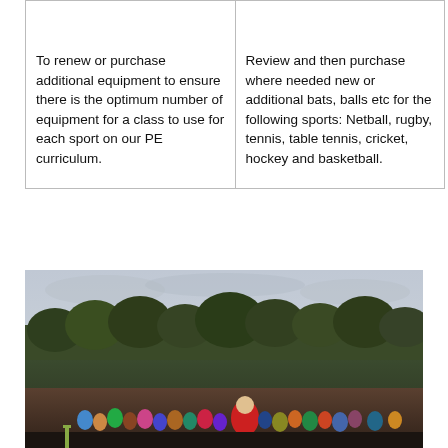| To renew or purchase additional equipment to ensure there is the optimum number of equipment for a class to use for each sport on our PE curriculum. | Review and then purchase where needed new or additional bats, balls etc for the following sports: Netball, rugby, tennis, table tennis, cricket, hockey and basketball. |
[Figure (photo): Outdoor photo showing people at a school sports event with trees and sky in the background]